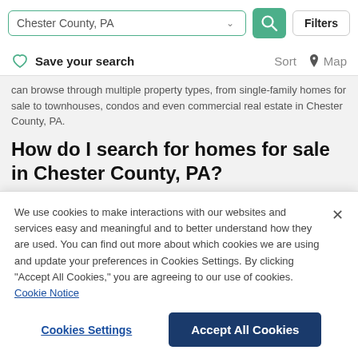[Figure (screenshot): Search bar with 'Chester County, PA' input, green search button, and Filters button]
Save your search   Sort   Map
can browse through multiple property types, from single-family homes for sale to townhouses, condos and even commercial real estate in Chester County, PA.
How do I search for homes for sale in Chester County, PA?
With Point2, you can sort the homes for sale in Chester County, PA
We use cookies to make interactions with our websites and services easy and meaningful and to better understand how they are used. You can find out more about which cookies we are using and update your preferences in Cookies Settings. By clicking "Accept All Cookies," you are agreeing to our use of cookies.  Cookie Notice
Cookies Settings
Accept All Cookies